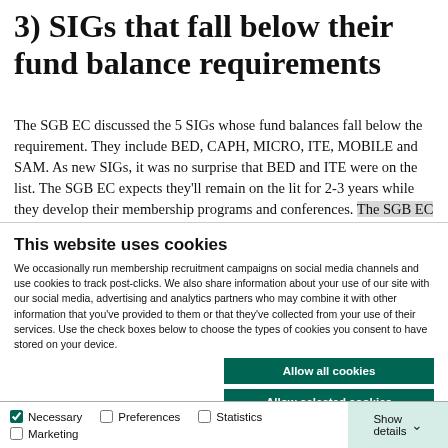3) SIGs that fall below their fund balance requirements
The SGB EC discussed the 5 SIGs whose fund balances fall below the requirement. They include BED, CAPH, MICRO, ITE, MOBILE and SAM. As new SIGs, it was no surprise that BED and ITE were on the list. The SGB EC expects they'll remain on the lit for 2-3 years while they develop their membership programs and conferences. The SGB EC
This website uses cookies
We occasionally run membership recruitment campaigns on social media channels and use cookies to track post-clicks. We also share information about your use of our site with our social media, advertising and analytics partners who may combine it with other information that you've provided to them or that they've collected from your use of their services. Use the check boxes below to choose the types of cookies you consent to have stored on your device.
Allow all cookies
Allow selected cookies
Use necessary cookies only
Necessary | Preferences | Statistics | Marketing | Show details